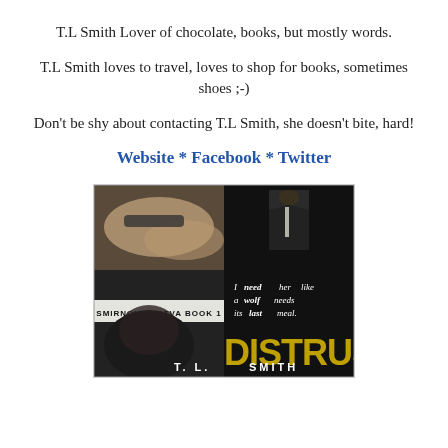T.L Smith Lover of chocolate, books, but mostly words.
T.L Smith loves to travel, loves to shop for books, sometimes shoes ;-)
Don't be shy about contacting T.L Smith, she doesn't bite, hard!
Website * Facebook * Twitter
[Figure (photo): Book cover collage for 'Distrust' by T.L. Smith - Smirnov Bratva Book 1, showing romantic/dark imagery with text 'I need her like a wolf needs its last meal.' and the title DISTRUST prominently displayed]